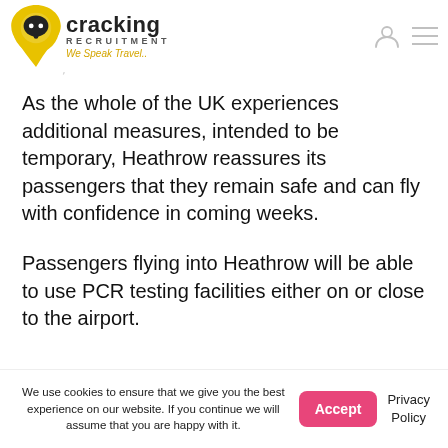cleaning regimes across the airport, enhanced ventilation in immigration halls, and Covid-19 marshals on hand.
[Figure (logo): Cracking Recruitment logo — yellow map-pin with dark speech bubble icon, company name 'cracking' in bold dark text, 'RECRUITMENT' in spaced caps, tagline 'We Speak Travel..' in yellow italic]
As the whole of the UK experiences additional measures, intended to be temporary, Heathrow reassures its passengers that they remain safe and can fly with confidence in coming weeks.
Passengers flying into Heathrow will be able to use PCR testing facilities either on or close to the airport.
We use cookies to ensure that we give you the best experience on our website. If you continue we will assume that you are happy with it.